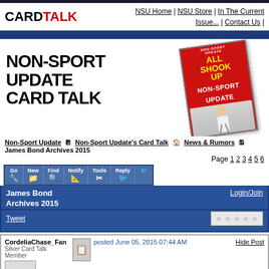CARD TALK | NSU Home | NSU Store | In The Current Issue... | Contact Us
[Figure (logo): Non-Sport Update Card Talk banner with magazine cover featuring Elvis]
Non-Sport Update > Non-Sport Update's Card Talk > News & Rumors > James Bond Archives 2015
Page 1 2 3 4 5 6
Go | New | Find | Notify | Tools | Reply
James Bond Archives 2015
Login/Join
Tweet
CordeliaChase_Fan Silver Card Talk Member posted June 05, 2015 07:44 AM Hide Post